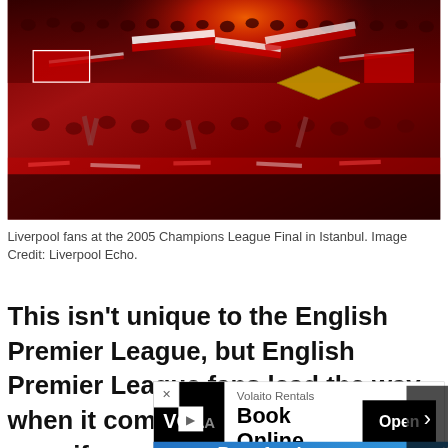[Figure (photo): Liverpool fans at the 2005 Champions League Final in Istanbul. Crowd of fans in red and white, waving flags and scarves, with flares/smoke visible at top.]
Liverpool fans at the 2005 Champions League Final in Istanbul. Image Credit: Liverpool Echo.
This isn't unique to the English Premier League, but English Premier League fans lead the way when it comes to [partially obscured by ad] y – even if [partially obscured] ungod[ly hours] full of